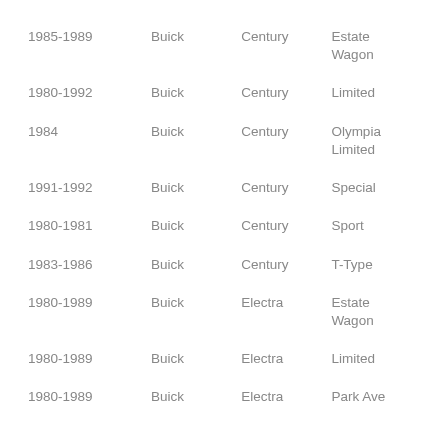| 1985-1989 | Buick | Century | Estate Wagon |
| 1980-1992 | Buick | Century | Limited |
| 1984 | Buick | Century | Olympia Limited |
| 1991-1992 | Buick | Century | Special |
| 1980-1981 | Buick | Century | Sport |
| 1983-1986 | Buick | Century | T-Type |
| 1980-1989 | Buick | Electra | Estate Wagon |
| 1980-1989 | Buick | Electra | Limited |
| 1980-1989 | Buick | Electra | Park Ave |